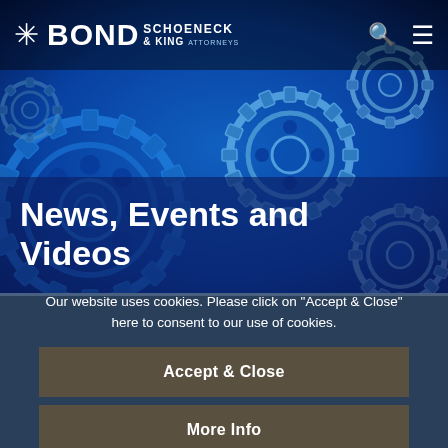[Figure (screenshot): Bond Schoeneck & King law firm website header showing logo with snowflake/asterisk icon, navigation bar with search and menu icons, and a hero background image of blue metallic gears]
News, Events and Videos
Our website uses cookies. Please click on "Accept & Close" here to consent to our use of cookies.
Accept & Close
More Info